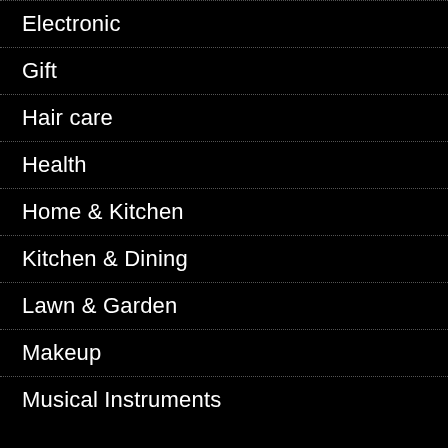Electronic
Gift
Hair care
Health
Home & Kitchen
Kitchen & Dining
Lawn & Garden
Makeup
Musical Instruments